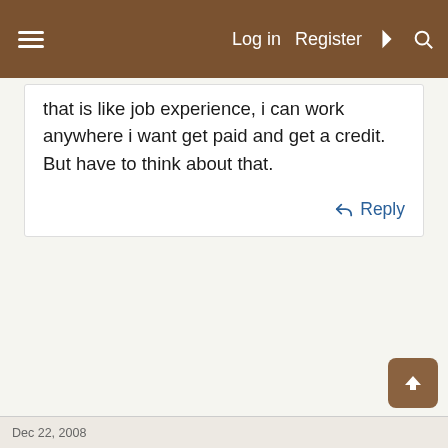Log in  Register
that is like job experience, i can work anywhere i want get paid and get a credit. But have to think about that.
Reply
Dec 22, 2008